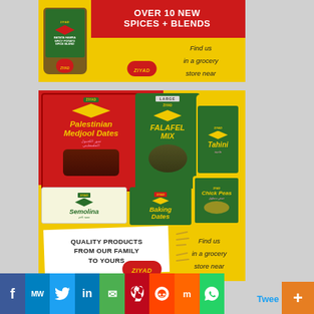[Figure (photo): Ziyad brand advertisement showing spice products with text 'OVER 10 NEW SPICES + BLENDS' and 'Find us in a grocery store near you!' on yellow background with red banner]
[Figure (photo): Ziyad brand advertisement showing Palestinian Medjool Dates, Falafel Mix, Tahini, Semolina, Baking Dates, and Chick Peas products with text 'QUALITY PRODUCTS FROM OUR FAMILY TO YOURS' and 'Find us in a grocery store near you!' on yellow background]
[Figure (infographic): Social media sharing bar with buttons: Facebook, MW, Twitter, LinkedIn, Email, Pinterest, Reddit, Mix, WhatsApp. Partial 'Twee' text visible. Orange '+' button at bottom right.]